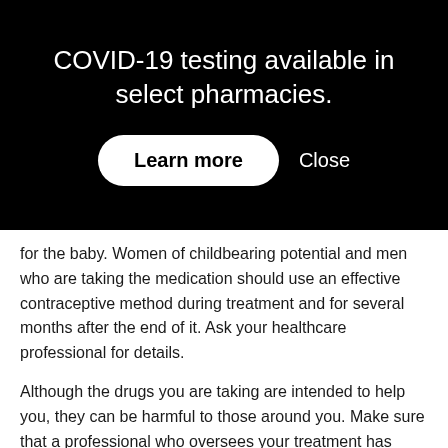COVID-19 testing available in select pharmacies.
for the baby. Women of childbearing potential and men who are taking the medication should use an effective contraceptive method during treatment and for several months after the end of it. Ask your healthcare professional for details.
Although the drugs you are taking are intended to help you, they can be harmful to those around you. Make sure that a professional who oversees your treatment has given you all the necessary precautions.
This information has been shared with your permission of